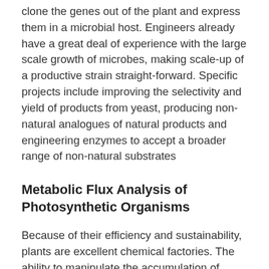clone the genes out of the plant and express them in a microbial host. Engineers already have a great deal of experience with the large scale growth of microbes, making scale-up of a productive strain straight-forward. Specific projects include improving the selectivity and yield of products from yeast, producing non-natural analogues of natural products and engineering enzymes to accept a broader range of non-natural substrates
Metabolic Flux Analysis of Photosynthetic Organisms
Because of their efficiency and sustainability, plants are excellent chemical factories. The ability to manipulate the accumulation of chemicals in plants is becoming a reality due to advances in genetic engineering. However, the current understanding of the regulation of plant metabolic fluxes is rudimentary. Our research is interested in developing tools to quantify metabolic carbon and nitrogen fluxes in plants, which is a key step in production of the...